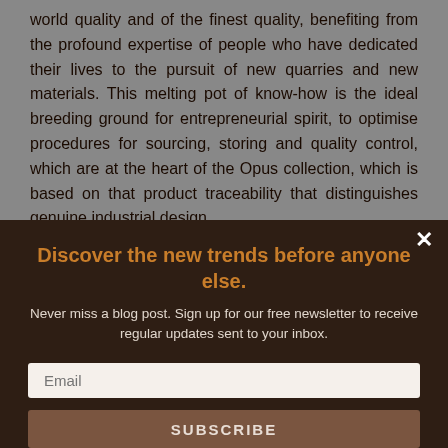world quality and of the finest quality, benefiting from the profound expertise of people who have dedicated their lives to the pursuit of new quarries and new materials. This melting pot of know-how is the ideal breeding ground for entrepreneurial spirit, to optimise procedures for sourcing, storing and quality control, which are at the heart of the Opus collection, which is based on that product traceability that distinguishes genuine industrial design.
Discover the new trends before anyone else.
Never miss a blog post. Sign up for our free newsletter to receive regular updates sent to your inbox.